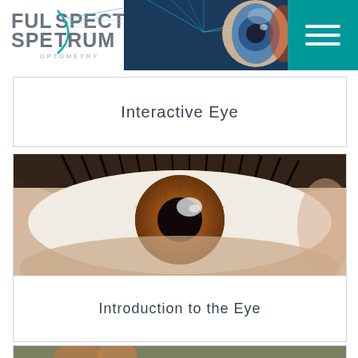[Figure (logo): Full Spectrum Optometry logo with teal arc graphic and text]
[Figure (photo): Close-up anatomical illustration of a human eye with blue light rays]
[Figure (other): Teal hamburger menu button in upper right corner]
Interactive Eye
[Figure (photo): Close-up macro photograph of a human eye with amber/brown iris and black lashes]
Introduction to the Eye
[Figure (photo): Partial photo at bottom of page, partially cropped]